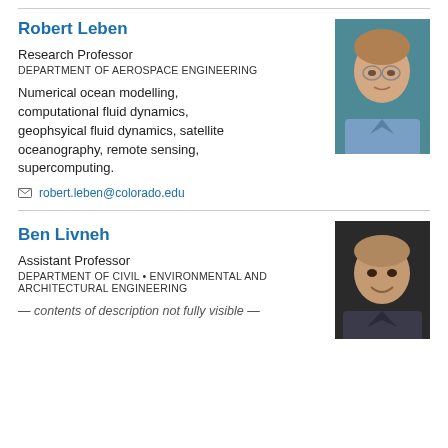Robert Leben
Research Professor
DEPARTMENT OF AEROSPACE ENGINEERING
Numerical ocean modelling, computational fluid dynamics, geophsyical fluid dynamics, satellite oceanography, remote sensing, supercomputing.
robert.leben@colorado.edu
[Figure (photo): Headshot of Robert Leben, a middle-aged man with glasses and light brown hair, wearing a blue shirt, against a teal background.]
Ben Livneh
Assistant Professor
DEPARTMENT OF CIVIL • ENVIRONMENTAL AND ARCHITECTURAL ENGINEERING
[Figure (photo): Headshot of Ben Livneh, a bald man smiling, against a dark background.]